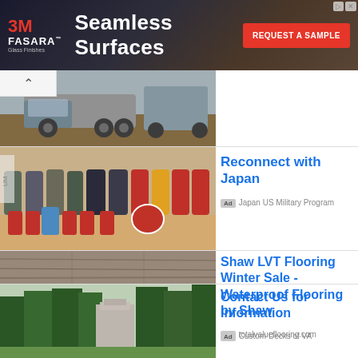[Figure (screenshot): 3M FASARA advertisement banner: logo on left, 'Seamless Surfaces' headline in center, 'REQUEST A SAMPLE' red button on right, dark background with furniture photo]
[Figure (photo): Military truck and equipment photo with a back-chevron navigation arrow overlay]
[Figure (photo): Group photo of people in traditional Japanese cultural dress and military uniforms]
Reconnect with Japan
Ad  Japan US Military Program
[Figure (photo): Close-up photo of gray wood-grain LVT flooring texture]
Shaw LVT Flooring Winter Sale - Waterproof Flooring by Shaw
Ad  totalvalueflooring.com
[Figure (photo): Outdoor photo of trees and a stone monument or chimney structure]
Contact Us for Information
Ad  Custom Decks of VA